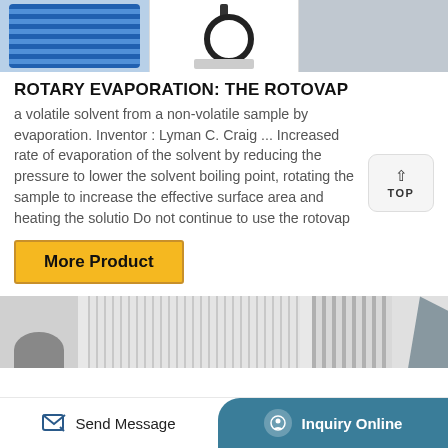[Figure (photo): Three product images at top: blue ventilation/filter equipment, lab stand with equipment, gray box/device]
ROTARY EVAPORATION: THE ROTOVAP
a volatile solvent from a non-volatile sample by evaporation. Inventor : Lyman C. Craig ... Increased rate of evaporation of the solvent by reducing the pressure to lower the solvent boiling point, rotating the sample to increase the effective surface area and heating the solutio Do not continue to use the rotovap
[Figure (other): TOP scroll-to-top button with upward arrow]
More Product
[Figure (photo): Bottom product images: circular dark object, foil/metallic wrapping, coiled tube, polished metal rods, dark wedge shape]
Send Message   Inquiry Online